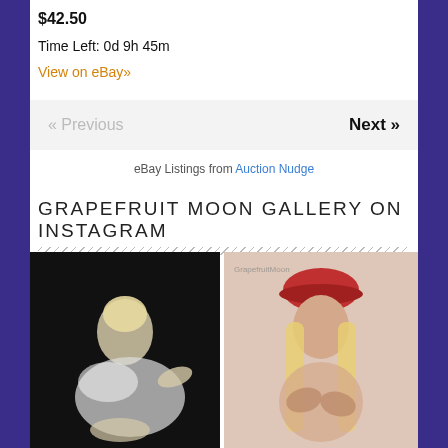$42.50
Time Left: 0d 9h 45m
View on eBay»
« Previous   Next »
eBay Listings from Auction Nudge
GRAPEFRUIT MOON GALLERY ON INSTAGRAM
[Figure (photo): Black and white photo of a blonde woman in white feathered outfit, reclining pose]
[Figure (photo): Color photo of a woman with long blonde hair wearing a red beret and covering chest with hands, with 'GrapefruitMoon' watermark]